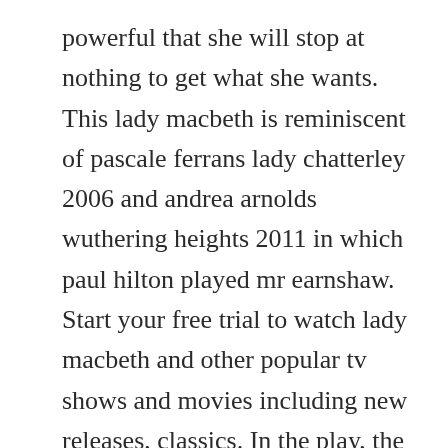powerful that she will stop at nothing to get what she wants. This lady macbeth is reminiscent of pascale ferrans lady chatterley 2006 and andrea arnolds wuthering heights 2011 in which paul hilton played mr earnshaw. Start your free trial to watch lady macbeth and other popular tv shows and movies including new releases, classics. In the play, the relationship between macbeth and lady macbeth unfolded in. Lady macbeth 2017 stream and watch online moviefone. Lady macbeth flashes some surprising toughness